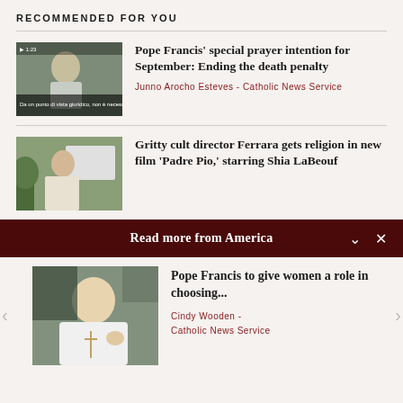RECOMMENDED FOR YOU
[Figure (photo): Pope Francis seated, speaking, with Italian caption text overlay]
Pope Francis' special prayer intention for September: Ending the death penalty
Junno Arocho Esteves - Catholic News Service
[Figure (photo): Older man in white blazer outdoors with billboard in background - Ferrara director]
Gritty cult director Ferrara gets religion in new film 'Padre Pio,' starring Shia LaBeouf
Read more from America
[Figure (photo): Pope Francis in white vestments, gesturing, seated]
Pope Francis to give women a role in choosing...
Cindy Wooden - Catholic News Service